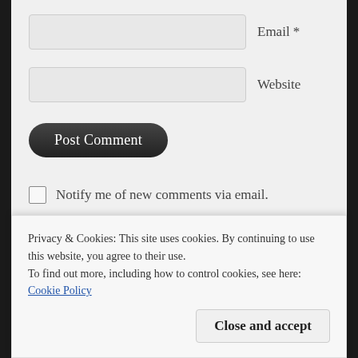Email *
Website
Post Comment
Notify me of new comments via email.
Notify me of new posts via email.
Privacy & Cookies: This site uses cookies. By continuing to use this website, you agree to their use.
To find out more, including how to control cookies, see here:
Cookie Policy
Close and accept